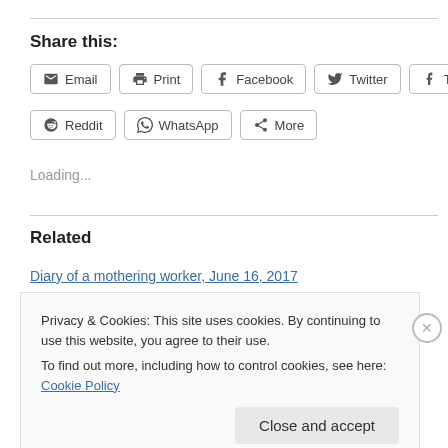Share this:
Email | Print | Facebook | Twitter | Tumblr | Reddit | WhatsApp | More
Loading...
Related
Diary of a mothering worker, June 16, 2017
Privacy & Cookies: This site uses cookies. By continuing to use this website, you agree to their use.
To find out more, including how to control cookies, see here: Cookie Policy
Close and accept